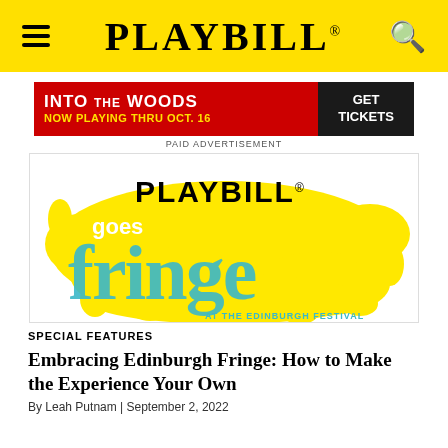PLAYBILL
[Figure (infographic): Advertisement banner for 'Into the Woods' musical. Red background with white bold text 'INTO THE WOODS', yellow text 'NOW PLAYING THRU OCT. 16', and dark button 'GET TICKETS'. Labeled 'PAID ADVERTISEMENT' below.]
PAID ADVERTISEMENT
[Figure (logo): Playbill Goes Fringe at the Edinburgh Festival logo. Black PLAYBILL text, white 'goes' text, large blue distressed 'fringe' text, all on a yellow paint-splash background with teal/blue accent text 'AT THE EDINBURGH FESTIVAL'.]
SPECIAL FEATURES
Embracing Edinburgh Fringe: How to Make the Experience Your Own
By Leah Putnam | September 2, 2022